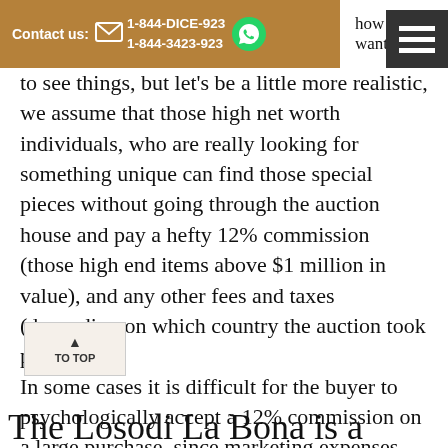Contact us: 1-844-DICE-923 1-844-3423-923 how you want
to see things, but let's be a little more realistic, we assume that those high net worth individuals, who are really looking for something unique can find those special pieces without going through the auction house and pay a hefty 12% commission (those high end items above $1 million in value), and any other fees and taxes (depending on which country the auction took place...)? In some cases it is difficult for the buyer to psychologically accept a 12% commission on a large purchase, since marketing expenses are not that higher for a $3 million item, like a $12,000 item.
The Losodi La Bona is a